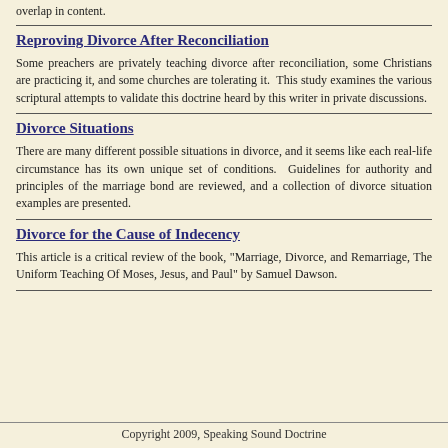overlap in content.
Reproving Divorce After Reconciliation
Some preachers are privately teaching divorce after reconciliation, some Christians are practicing it, and some churches are tolerating it.  This study examines the various scriptural attempts to validate this doctrine heard by this writer in private discussions.
Divorce Situations
There are many different possible situations in divorce, and it seems like each real-life circumstance has its own unique set of conditions.  Guidelines for authority and principles of the marriage bond are reviewed, and a collection of divorce situation examples are presented.
Divorce for the Cause of Indecency
This article is a critical review of the book, "Marriage, Divorce, and Remarriage, The Uniform Teaching Of Moses, Jesus, and Paul" by Samuel Dawson.
Copyright 2009, Speaking Sound Doctrine